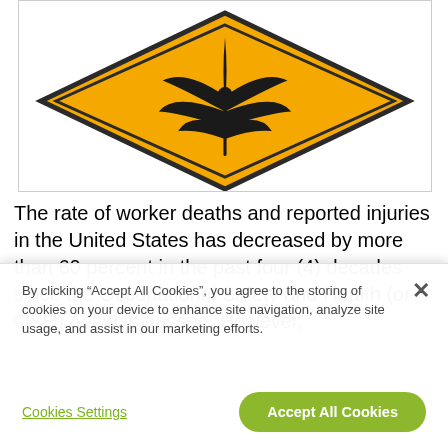[Figure (illustration): Orange diamond-shaped warning sign with a black cannabis/marijuana leaf silhouette in the center, on white background with gray border frame.]
The rate of worker deaths and reported injuries in the United States has decreased by more than 60 percent in the past four (4) decades since the Occupational Safety and Health (or OSH) Act was passed. However,
By clicking "Accept All Cookies", you agree to the storing of cookies on your device to enhance site navigation, analyze site usage, and assist in our marketing efforts.